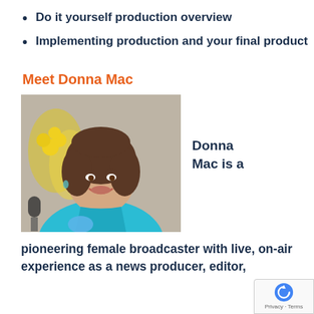Do it yourself production overview
Implementing production and your final product
Meet Donna Mac
[Figure (photo): Portrait photo of Donna Mac, a woman with shoulder-length brown hair, smiling, wearing a teal/turquoise blazer, seated near a microphone with yellow flowers in the background.]
Donna Mac is a
pioneering female broadcaster with live, on-air experience as a news producer, editor,